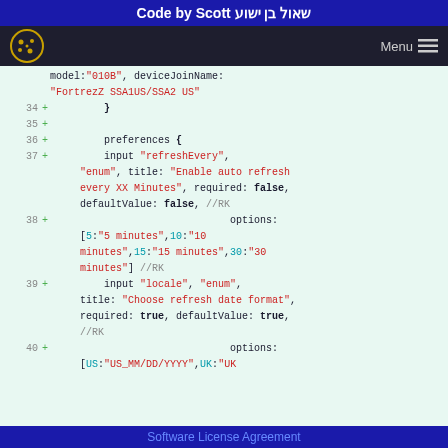Code by Scott שאול בן ישוע
[Figure (screenshot): Navigation bar with cookie logo and Menu hamburger icon]
model:"010B", deviceJoinName:
"FortrezZ SSA1US/SSA2 US"
34 +     }
35 +
36 +     preferences {
37 +     input "refreshEvery",
     "enum", title: "Enable auto refresh
     every XX Minutes", required: false,
     defaultValue: false, //RK
38 +                              options:
     [5:"5 minutes",10:"10
     minutes",15:"15 minutes",30:"30
     minutes"] //RK
39 +     input "locale", "enum",
     title: "Choose refresh date format",
     required: true, defaultValue: true,
     //RK
40 +                              options:
     [US:"US_MM/DD/YYYY",UK:"UK...
Software License Agreement